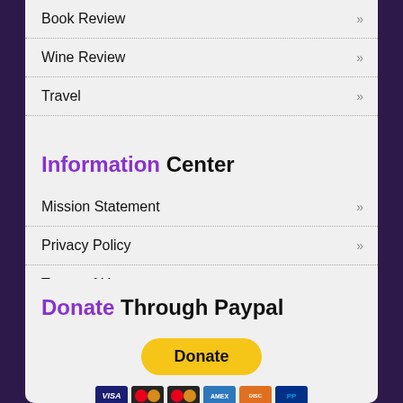Book Review »
Wine Review »
Travel »
Information Center
Mission Statement »
Privacy Policy »
Terms of Use »
Donate Through Paypal
[Figure (other): PayPal Donate button with payment method icons (Visa, Mastercard, Mastercard, Amex, Discover, PayPal)]